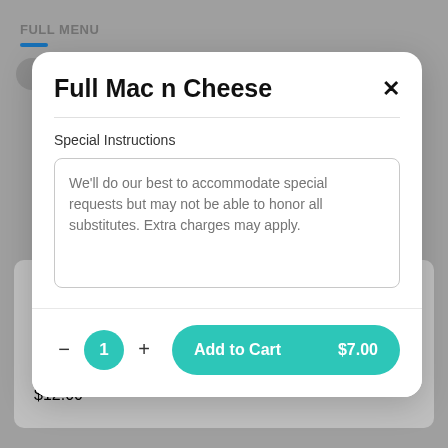Full Mac n Cheese
Special Instructions
We'll do our best to accommodate special requests but may not be able to honor all substitutes. Extra charges may apply.
− 1 + Add to Cart $7.00
DENVER SKILLET
$12.00